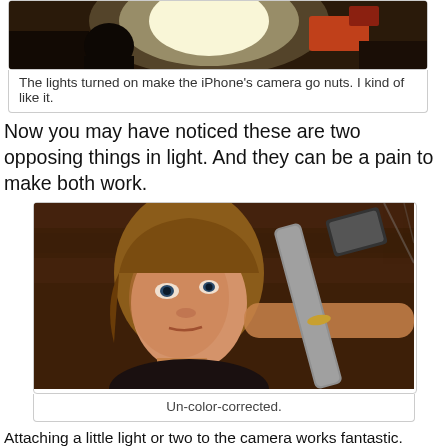[Figure (photo): Photo of lights turned on causing camera overexposure/glare effect on iPhone camera]
The lights turned on make the iPhone's camera go nuts. I kind of like it.
Now you may have noticed these are two opposing things in light. And they can be a pain to make both work.
[Figure (photo): Un-color-corrected photo of a woman looking up, holding a lighting device in a dimly lit scene]
Un-color-corrected.
Attaching a little light or two to the camera works fantastic. Especially at a 1600 ISO at f2.8. You can light from behind just like you want to, but you don't need to worry so much about the kick and filling in the eyes.
And it's a relatively subtle effect too. You don't have to worry about everything looking like a bad television documentary